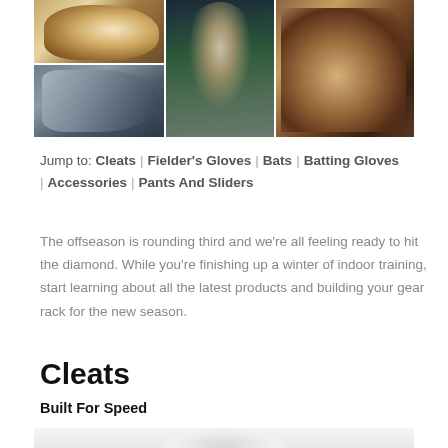[Figure (photo): Collage of four baseball equipment photos: top-left shows a fielder's glove (UA brand), bottom-left shows batting gloves, center shows a young batter with Under Armour helmet, right shows a brown leather glove/cleat on dirt.]
Jump to: Cleats | Fielder's Gloves | Bats | Batting Gloves | Accessories | Pants And Sliders
The offseason is rounding third and we're all feeling ready to hit the diamond. While you're finishing up a winter of indoor training, start learning about all the latest products and building your gear rack for the new season.
Cleats
Built For Speed
[Figure (photo): Partial view of a baseball cleat, light gray/white color, on a light background.]